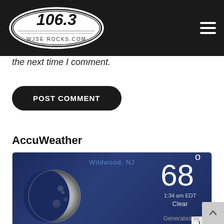106.3 WJSE ROCKS.COM
the next time I comment.
POST COMMENT
AccuWeather
[Figure (screenshot): AccuWeather widget showing Wildwood, NJ weather: 68°F, 1:34 am EDT, Clear, with crescent moon image on dark blue background]
Generated by Feedzy